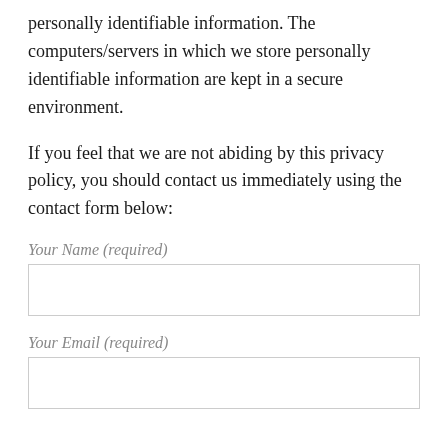personally identifiable information. The computers/servers in which we store personally identifiable information are kept in a secure environment.
If you feel that we are not abiding by this privacy policy, you should contact us immediately using the contact form below:
Your Name (required)
Your Email (required)